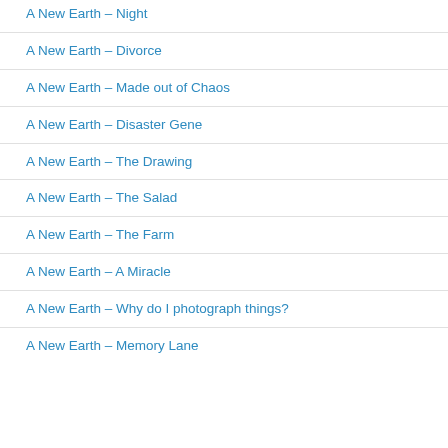A New Earth – Night
A New Earth – Divorce
A New Earth – Made out of Chaos
A New Earth – Disaster Gene
A New Earth – The Drawing
A New Earth – The Salad
A New Earth – The Farm
A New Earth – A Miracle
A New Earth – Why do I photograph things?
A New Earth – Memory Lane